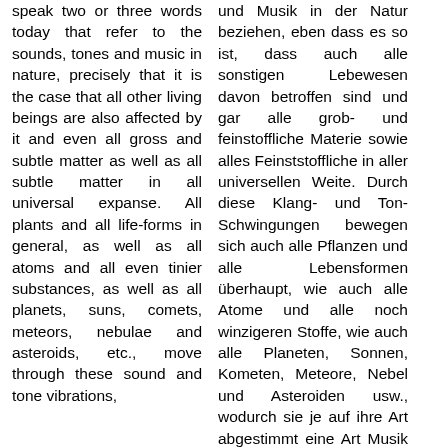speak two or three words today that refer to the sounds, tones and music in nature, precisely that it is the case that all other living beings are also affected by it and even all gross and subtle matter as well as all subtle matter in all universal expanse. All plants and all life-forms in general, as well as all atoms and all even tinier substances, as well as all planets, suns, comets, meteors, nebulae and asteroids, etc., move through these sound and tone vibrations,
und Musik in der Natur beziehen, eben dass es so ist, dass auch alle sonstigen Lebewesen davon betroffen sind und gar alle grob- und feinstoffliche Materie sowie alles Feinststoffliche in aller universellen Weite. Durch diese Klang- und Ton-Schwingungen bewegen sich auch alle Pflanzen und alle Lebensformen überhaupt, wie auch alle Atome und alle noch winzigeren Stoffe, wie auch alle Planeten, Sonnen, Kometen, Meteore, Nebel und Asteroiden usw., wodurch sie je auf ihre Art abgestimmt eine Art Musik erzeugen, was ich als gesamt-universelles musikalisches Rauschen und Summen bezeichnen will, wobei dadurch auch eine gewisse Heilkraft in mancherlei Hinsicht ausgeströmt wird. Also wird auch jede Lebensform, egal welcher Gattung oder Art, von diesen